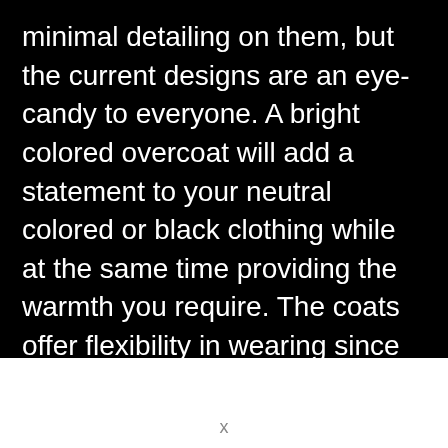minimal detailing on them, but the current designs are an eye-candy to everyone. A bright colored overcoat will add a statement to your neutral colored or black clothing while at the same time providing the warmth you require. The coats offer flexibility in wearing since you can pair them with almost any outfit and still rock. You will find most celebrities wearing this outfit (both male and female) meaning that it is
x